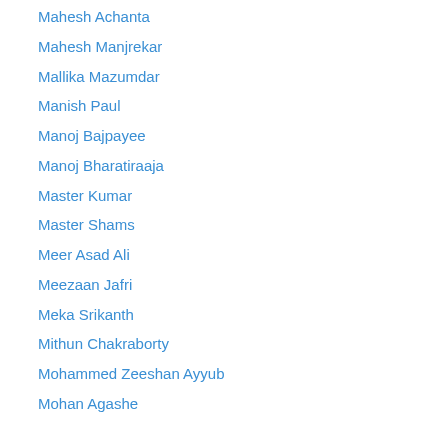Mahesh Achanta
Mahesh Manjrekar
Mallika Mazumdar
Manish Paul
Manoj Bajpayee
Manoj Bharatiraaja
Master Kumar
Master Shams
Meer Asad Ali
Meezaan Jafri
Meka Srikanth
Mithun Chakraborty
Mohammed Zeeshan Ayyub
Mohan Agashe